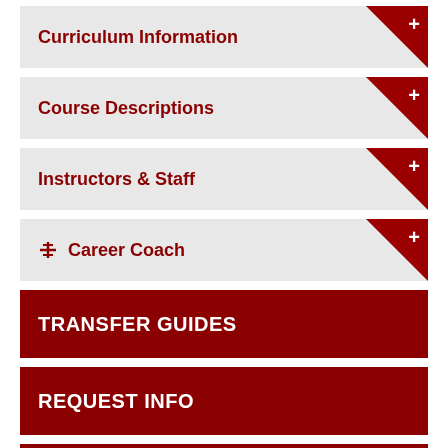Curriculum Information
Course Descriptions
Instructors & Staff
Career Coach
TRANSFER GUIDES
REQUEST INFO
APPLY ONLINE